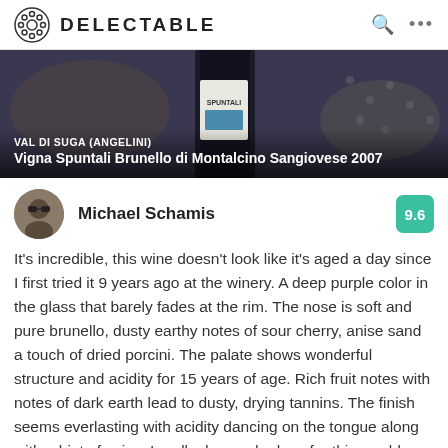DELECTABLE
[Figure (photo): Wine bottle with 'SPUNTALI' label partially visible, dark background]
VAL DI SUGA (ANGELINI)
Vigna Spuntali Brunello di Montalcino Sangiovese 2007
Michael Schamis  9.6
It's incredible, this wine doesn't look like it's aged a day since I first tried it 9 years ago at the winery. A deep purple color in the glass that barely fades at the rim. The nose is soft and pure brunello, dusty earthy notes of sour cherry, anise sand a touch of dried porcini. The palate shows wonderful structure and acidity for 15 years of age. Rich fruit notes with notes of dark earth lead to dusty, drying tannins. The finish seems everlasting with acidity dancing on the tongue along with a hint of spice. I really do wonder how far this would have gone. Wonderful wine! — 3 days ago